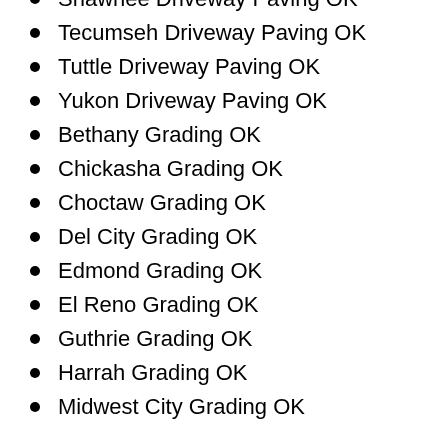Shawnee Driveway Paving OK
Tecumseh Driveway Paving OK
Tuttle Driveway Paving OK
Yukon Driveway Paving OK
Bethany Grading OK
Chickasha Grading OK
Choctaw Grading OK
Del City Grading OK
Edmond Grading OK
El Reno Grading OK
Guthrie Grading OK
Harrah Grading OK
Midwest City Grading OK